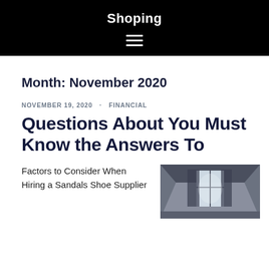Shoping
Month: November 2020
NOVEMBER 19, 2020 · FINANCIAL
Questions About You Must Know the Answers To
Factors to Consider When Hiring a Sandals Shoe Supplier
[Figure (photo): Interior room photo showing a window with curtains and architectural details, dark tones]